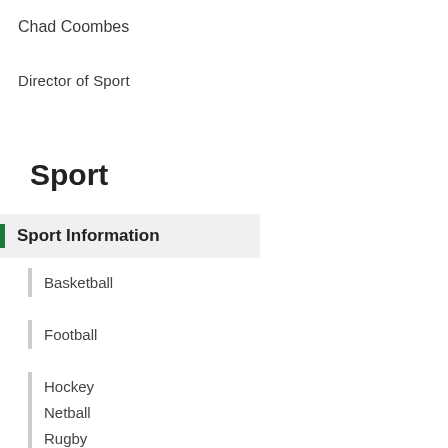Chad Coombes
Director of Sport
Sport
Sport Information
Basketball
Football
Hockey
Netball
Rugby